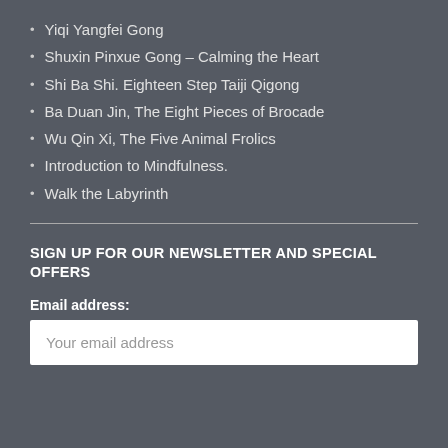Yiqi Yangfei Gong
Shuxin Pinxue Gong – Calming the Heart
Shi Ba Shi. Eighteen Step Taiji Qigong
Ba Duan Jin, The Eight Pieces of Brocade
Wu Qin Xi, The Five Animal Frolics
Introduction to Mindfulness.
Walk the Labyrinth
SIGN UP FOR OUR NEWSLETTER AND SPECIAL OFFERS
Email address:
Your email address